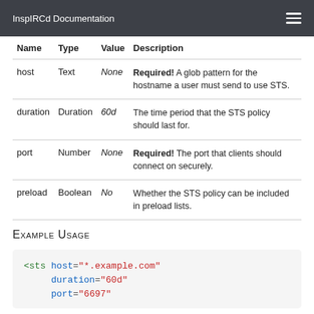InspIRCd Documentation
| Name | Type | Value | Description |
| --- | --- | --- | --- |
| host | Text | None | Required! A glob pattern for the hostname a user must send to use STS. |
| duration | Duration | 60d | The time period that the STS policy should last for. |
| port | Number | None | Required! The port that clients should connect on securely. |
| preload | Boolean | No | Whether the STS policy can be included in preload lists. |
Example Usage
<sts host="*.example.com"
     duration="60d"
     port="6697"